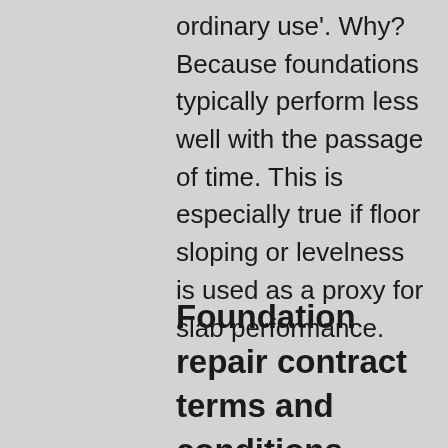ordinary use'. Why? Because foundations typically perform less well with the passage of time. This is especially true if floor sloping or levelness is used as a proxy for slab performance.
Foundation repair contract terms and conditions – counting the cost